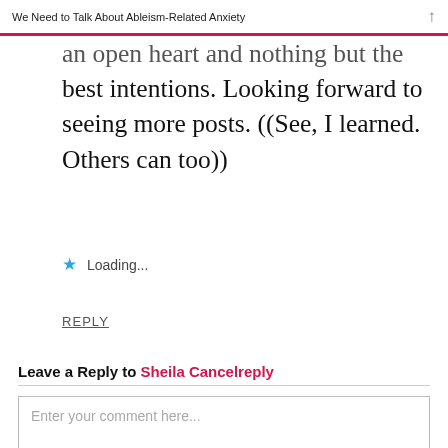We Need to Talk About Ableism-Related Anxiety
an open heart and nothing but the best intentions. Looking forward to seeing more posts. ((See, I learned. Others can too))
★ Loading...
REPLY
Leave a Reply to Sheila Cancelreply
Enter your comment here...